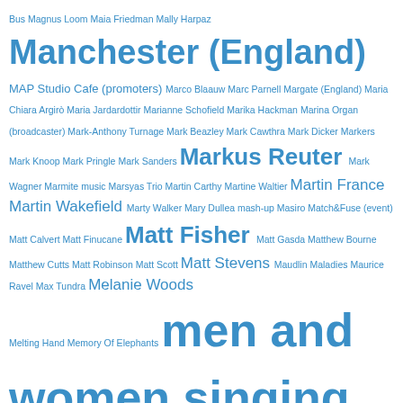Bus Magnus Loom Maia Friedman Mally Harpaz Manchester (England) MAP Studio Cafe (promoters) Marco Blaauw Marc Parnell Margate (England) Maria Chiara Argirò Maria Jardardottir Marianne Schofield Marika Hackman Marina Organ (broadcaster) Mark-Anthony Turnage Mark Beazley Mark Cawthra Mark Dicker Markers Mark Knoop Mark Pringle Mark Sanders Markus Reuter Mark Wagner Marmite music Marsyas Trio Martin Carthy Martine Waltier Martin France Martin Wakefield Marty Walker Mary Dullea mash-up Masiro Match&Fuse (event) Matt Calvert Matt Finucane Matt Fisher Matt Gasda Matthew Bourne Matthew Cutts Matt Robinson Matt Scott Matt Stevens Maudlin Maladies Maurice Ravel Max Tundra Melanie Woods Melting Hand Memory Of Elephants men and women singing together Merlin Nova Metamono Metamorphic Michael Bearpark Michael Chinworth Michael J. Sheehy Michael Manring Michael Masley Michael Mondesir Michael Nyman Michael Oliva Michael Price Michele Stodart Mick Foster Mick Karn Miguel Gorodi Mike Bourne Mike Garson Mike Oldfield Mike Outram Mike Pickering Mike Vennart Mike Walker Mike Westbrook